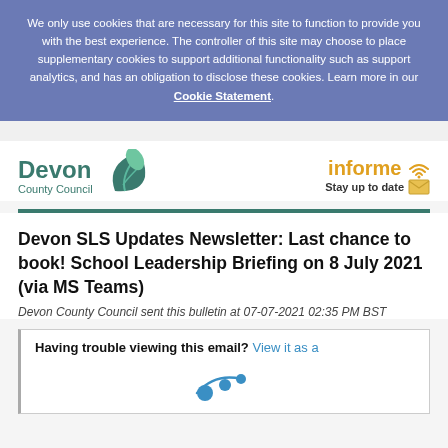We only use cookies that are necessary for this site to function to provide you with the best experience. The controller of this site may choose to place supplementary cookies to support additional functionality such as support analytics, and has an obligation to disclose these cookies. Learn more in our Cookie Statement.
[Figure (logo): Devon County Council logo with green leaf and InforMe logo with envelope icon]
Devon SLS Updates Newsletter: Last chance to book! School Leadership Briefing on 8 July 2021 (via MS Teams)
Devon County Council sent this bulletin at 07-07-2021 02:35 PM BST
Having trouble viewing this email? View it as a